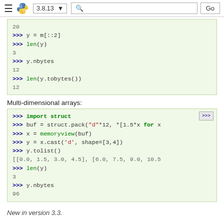3.8.13  [search]  Go
[Figure (screenshot): Python code block showing: 20, >>> y = m[::2], >>> len(y), 3, >>> y.nbytes, 12, >>> len(y.tobytes()), 12]
Multi-dimensional arrays:
[Figure (screenshot): Python code block showing: >>> import struct, >>> buf = struct.pack("d"*12, *[1.5*x for x, >>> x = memoryview(buf), >>> y = x.cast('d', shape=[3,4]), >>> y.tolist(), [[0.0, 1.5, 3.0, 4.5], [6.0, 7.5, 9.0, 10.5, >>> len(y), 3, >>> y.nbytes, 96]
New in version 3.3.